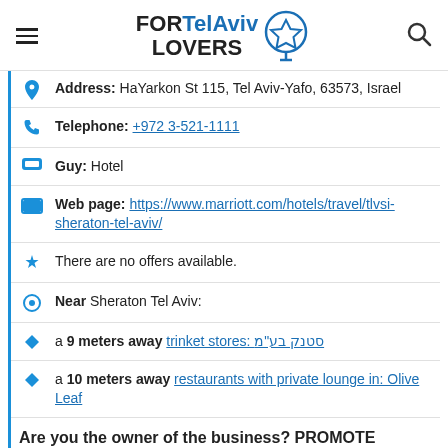FOR Tel Aviv LOVERS
Address: HaYarkon St 115, Tel Aviv-Yafo, 63572, Israel
Telephone: +972 3-521-1111
Guy: Hotel
Web page: https://www.marriott.com/hotels/travel/tlvsi-sheraton-tel-aviv/
There are no offers available.
Near Sheraton Tel Aviv:
a 9 meters away trinket stores: סטנק בע"מ
a 10 meters away restaurants with private lounge in: Olive Leaf
Are you the owner of the business? PROMOTE